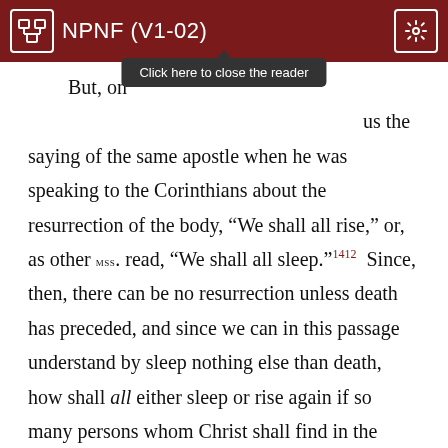NPNF (V1-02)
[Figure (screenshot): Tooltip overlay reading 'Click here to close the reader']
But, on [tooltip obscures text] us the saying of the same apostle when he was speaking to the Corinthians about the resurrection of the body, "We shall all rise," or, as other MSS. read, "We shall all sleep."1412  Since, then, there can be no resurrection unless death has preceded, and since we can in this passage understand by sleep nothing else than death, how shall all either sleep or rise again if so many persons whom Christ shall find in the body shall neither sleep nor rise again?  If, then, we believe that the saints who shall be found alive at Christ's coming, and shall be caught up to meet Him shall in due course of nature suffer death and